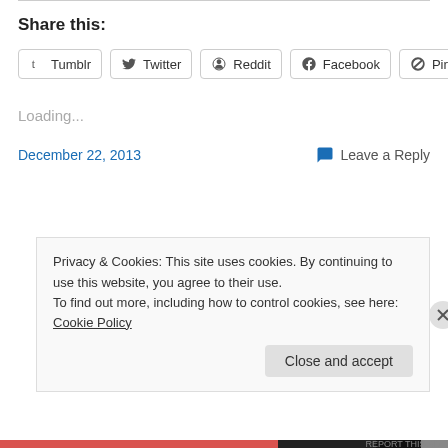Share this:
[Figure (other): Social share buttons: Tumblr, Twitter, Reddit, Facebook, Pinterest]
Loading...
December 22, 2013    Leave a Reply
Privacy & Cookies: This site uses cookies. By continuing to use this website, you agree to their use.
To find out more, including how to control cookies, see here: Cookie Policy